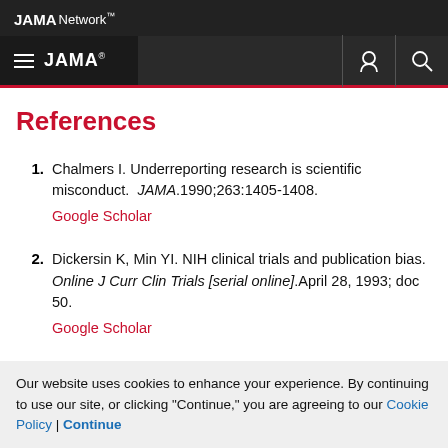JAMA Network
JAMA
References
1. Chalmers I. Underreporting research is scientific misconduct. JAMA.1990;263:1405-1408. Google Scholar
2. Dickersin K, Min YI. NIH clinical trials and publication bias. Online J Curr Clin Trials [serial online].April 28, 1993; doc 50. Google Scholar
Our website uses cookies to enhance your experience. By continuing to use our site, or clicking "Continue," you are agreeing to our Cookie Policy | Continue